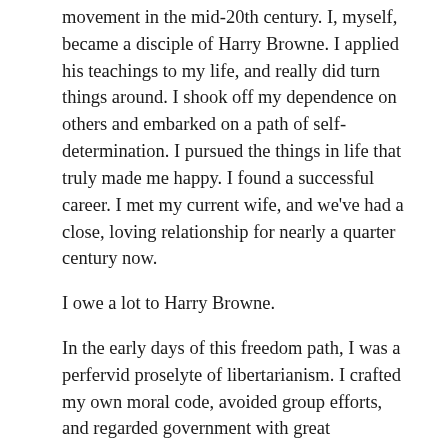movement in the mid-20th century. I, myself, became a disciple of Harry Browne. I applied his teachings to my life, and really did turn things around. I shook off my dependence on others and embarked on a path of self-determination. I pursued the things in life that truly made me happy. I found a successful career. I met my current wife, and we've had a close, loving relationship for nearly a quarter century now.
I owe a lot to Harry Browne.
In the early days of this freedom path, I was a perfervid proselyte of libertarianism. I crafted my own moral code, avoided group efforts, and regarded government with great skepticism. Harry Browne's advice was that government does not solve any problems, and I took that to heart.